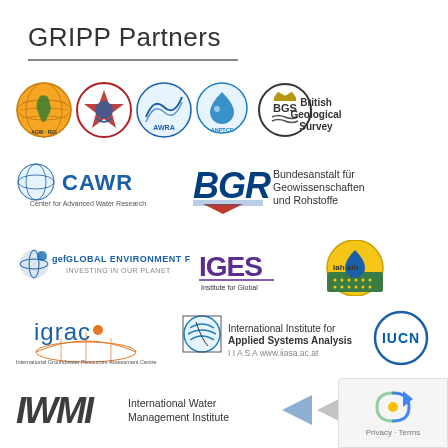GRIPP Partners
[Figure (logo): Row of partner organization logos: Africa Groundwater Network (AGW), IGRAC star logo, AWRA, ANPTCE, British Geological Survey (BGS)]
[Figure (logo): CAWR Center for Advanced Water Research logo and BGR Bundesanstalt für Geowissenschaften und Rohstoffe logo]
[Figure (logo): GEF Global Environment Facility logo, IGES Institute for Global Environmental Strategies logo, IAH/AIH logo]
[Figure (logo): igrac International Groundwater Resources Assessment Centre logo, IIASA International Institute for Applied Systems Analysis logo, IUCN logo]
[Figure (logo): IWMI International Water Management Institute logo and partial logos at bottom]